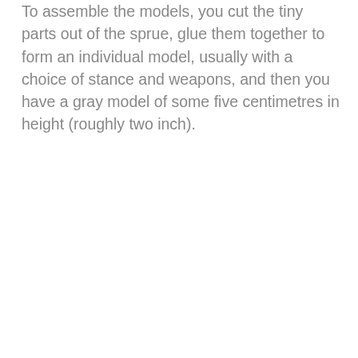To assemble the models, you cut the tiny parts out of the sprue, glue them together to form an individual model, usually with a choice of stance and weapons, and then you have a gray model of some five centimetres in height (roughly two inch).